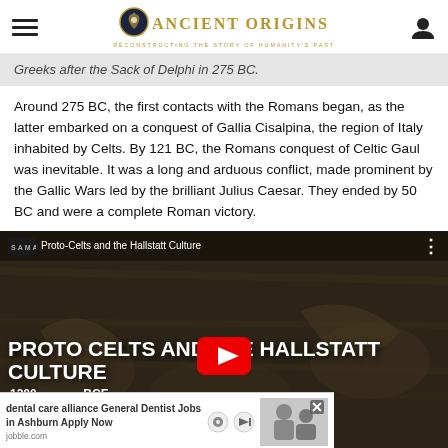Ancient Origins — Reconstructing the Story of Humanity's Past
Greeks after the Sack of Delphi in 275 BC.
Around 275 BC, the first contacts with the Romans began, as the latter embarked on a conquest of Gallia Cisalpina, the region of Italy inhabited by Celts. By 121 BC, the Romans conquest of Celtic Gaul was inevitable. It was a long and arduous conflict, made prominent by the Gallic Wars led by the brilliant Julius Caesar. They ended by 50 BC and were a complete Roman victory.
[Figure (screenshot): YouTube video thumbnail for 'Proto-Celts and the Hallstatt Culture' with large white bold text on dark carved stone background, red YouTube play button visible, and an advertisement overlay at the bottom for 'dental care alliance General Dentist Jobs in Ashburn Apply Now' from jobble.com]